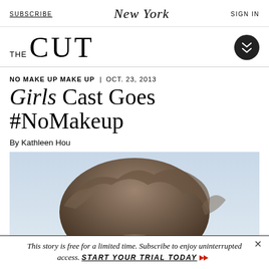SUBSCRIBE | New York | SIGN IN
THE CUT
NO MAKE UP MAKE UP | OCT. 23, 2013
Girls Cast Goes #NoMakeup
By Kathleen Hou
[Figure (photo): Close-up photo showing the top of a person's head with brown hair against a light blue/gray background]
This story is free for a limited time. Subscribe to enjoy uninterrupted access. START YOUR TRIAL TODAY